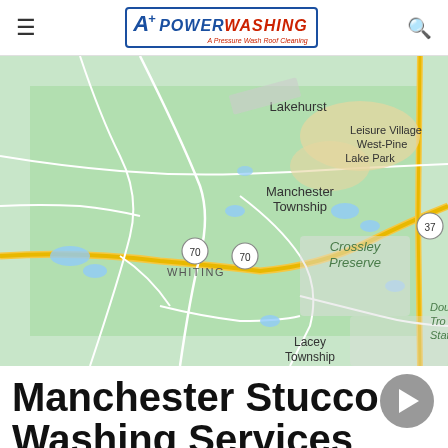A+ Powerwashing & Pressure Wash Roof Cleaning
[Figure (map): Google Maps view showing Manchester Township, NJ area including Lakehurst, Leisure Village West-Pine Lake Park, Crossley Preserve, Whiting, route 70, route 37, and Lacey Township labels]
Manchester Stucco Washing Services with